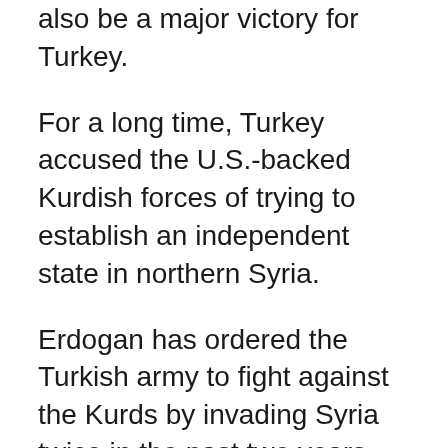also be a major victory for Turkey.
For a long time, Turkey accused the U.S.-backed Kurdish forces of trying to establish an independent state in northern Syria.
Erdogan has ordered the Turkish army to fight against the Kurds by invading Syria twice in the past two years. After Trump's announcement, Turkey immediately said it would "postpone the campaign in Syria" and wait until the U.S. withdrawal was completed.
For Turkey, the best strategy would be to sway between the U.S. and Russia.
It will help the U.S. to continue its